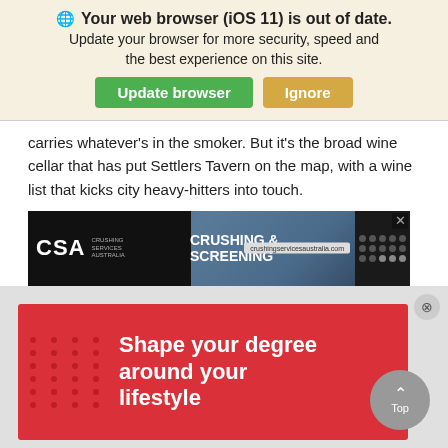Your web browser (iOS 11) is out of date. Update your browser for more security, speed and the best experience on this site.
carries whatever's in the smoker. But it's the broad wine cellar that has put Settlers Tavern on the map, with a wine list that kicks city heavy-hitters into touch.
[Figure (other): CSA Crushing Services Australia advertisement banner - CRUSHING & SCREENING - crushingservicesaustralia.com]
114 Bussell Highway, Margaret River, settlerstavern.com
[Figure (other): Red advertisement banner: Shape your degree around your lifestyle]